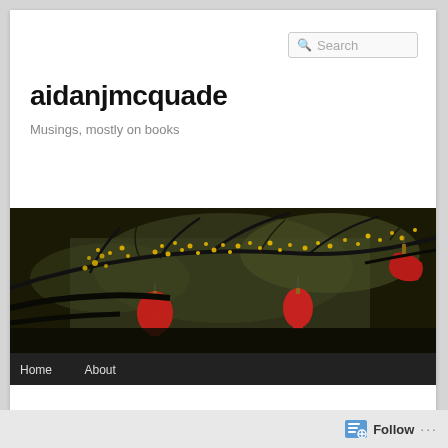Search
aidanjmcquade
Musings, mostly on books
[Figure (photo): Banner photo of blossoming tree branches with yellow flowers and red Chinese lanterns hanging from branches against a dark background.]
Home   About
← Previous   Next →